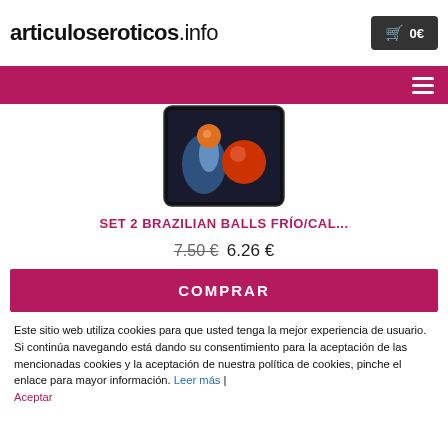articuloseroticos.info  🛒 0€
[Figure (screenshot): Product image showing orange/red balls splashing in water on a dark background, displayed on a phone/tablet screen]
SET 2 BRAZILIAN BALLS FRÍO/CAL...
7.50 € 6.26 €
COMPRAR
Este sitio web utiliza cookies para que usted tenga la mejor experiencia de usuario. Si continúa navegando está dando su consentimiento para la aceptación de las mencionadas cookies y la aceptación de nuestra política de cookies, pinche el enlace para mayor información. Leer más | Aceptar